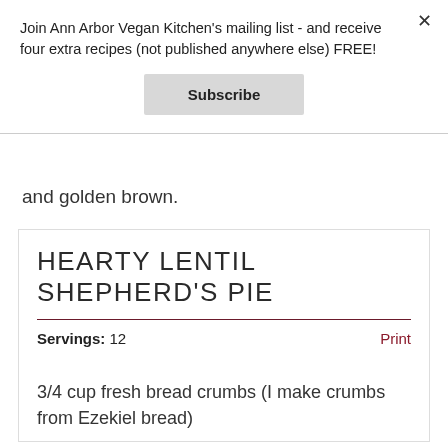Join Ann Arbor Vegan Kitchen's mailing list - and receive four extra recipes (not published anywhere else) FREE!
Subscribe
and golden brown.
HEARTY LENTIL SHEPHERD'S PIE
Servings: 12    Print
3/4 cup fresh bread crumbs (I make crumbs from Ezekiel bread)